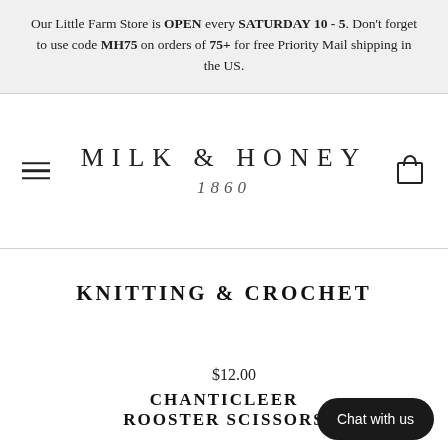Our Little Farm Store is OPEN every SATURDAY 10 - 5. Don't forget to use code MH75 on orders of 75+ for free Priority Mail shipping in the US.
[Figure (logo): Milk & Honey 1860 logo with hamburger menu icon on left and shopping bag icon on right]
KNITTING & CROCHET
$12.00
CHANTICLEER ROOSTER SCISSORS